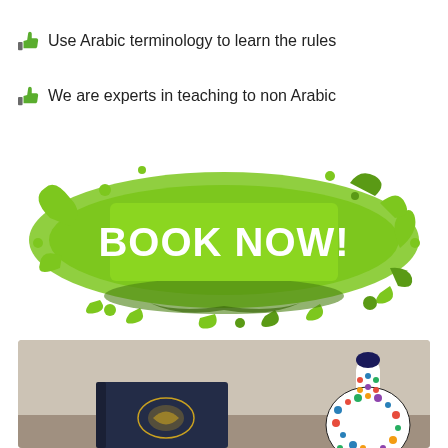Use Arabic terminology to learn the rules
We are experts in teaching to non Arabic
[Figure (infographic): Green paint splat button with bold white text reading BOOK NOW!]
[Figure (photo): Photo of a dark navy book with gold ornamental design and a decorative colorful mosaic vase/bottle on a beige background]